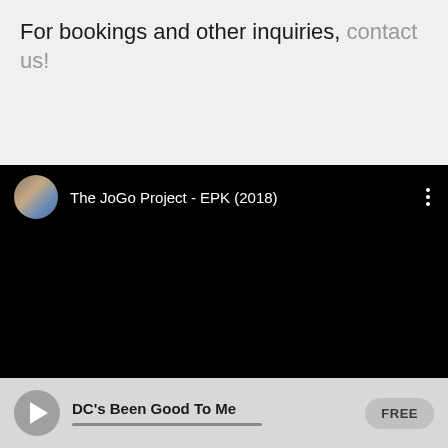For bookings and other inquiries, contact us!
[Figure (screenshot): Embedded YouTube video player showing 'The JoGo Project - EPK (2018)' with a circular avatar thumbnail and three-dot menu icon on a black background]
DC's Been Good To Me FREE